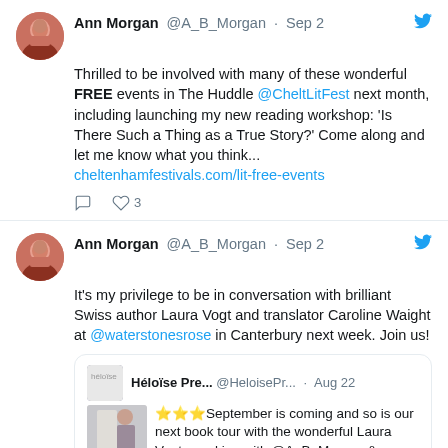Ann Morgan @A_B_Morgan · Sep 2 — Thrilled to be involved with many of these wonderful FREE events in The Huddle @CheltLitFest next month, including launching my new reading workshop: 'Is There Such a Thing as a True Story?' Come along and let me know what you think... cheltenhamfestivals.com/lit-free-events
Ann Morgan @A_B_Morgan · Sep 2 — It's my privilege to be in conversation with brilliant Swiss author Laura Vogt and translator Caroline Waight at @waterstonesrose in Canterbury next week. Join us!
Héloïse Pre... @HeloisePr... · Aug 22 — ⭐⭐⭐September is coming and so is our next book tour with the wonderful Laura Vogt speaking with @A_B_Morgan &